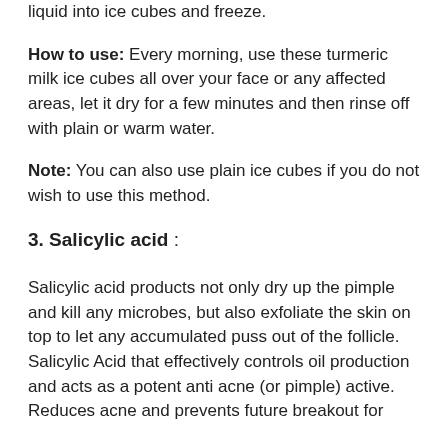liquid into ice cubes and freeze.
How to use: Every morning, use these turmeric milk ice cubes all over your face or any affected areas, let it dry for a few minutes and then rinse off with plain or warm water.
Note: You can also use plain ice cubes if you do not wish to use this method.
3. Salicylic acid :
Salicylic acid products not only dry up the pimple and kill any microbes, but also exfoliate the skin on top to let any accumulated puss out of the follicle. Salicylic Acid that effectively controls oil production and acts as a potent anti acne (or pimple) active. Reduces acne and prevents future breakout for